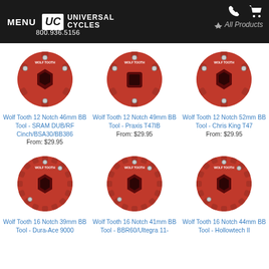MENU | UC Universal Cycles | 800.936.5156 | All Products
[Figure (photo): Red Wolf Tooth 12 Notch 46mm BB Tool - SRAM DUB/RF Cinch/BSA30/BB386]
Wolf Tooth 12 Notch 46mm BB Tool - SRAM DUB/RF Cinch/BSA30/BB386
From: $29.95
[Figure (photo): Red Wolf Tooth 12 Notch 49mm BB Tool - Praxis T47IB]
Wolf Tooth 12 Notch 49mm BB Tool - Praxis T47IB
From: $29.95
[Figure (photo): Red Wolf Tooth 12 Notch 52mm BB Tool - Chris King T47]
Wolf Tooth 12 Notch 52mm BB Tool - Chris King T47
From: $29.95
[Figure (photo): Red Wolf Tooth 16 Notch 39mm BB Tool - Dura-Ace 9000]
Wolf Tooth 16 Notch 39mm BB Tool - Dura-Ace 9000
[Figure (photo): Red Wolf Tooth 16 Notch 41mm BB Tool - BBR60/Ultegra 11-]
Wolf Tooth 16 Notch 41mm BB Tool - BBR60/Ultegra 11-
[Figure (photo): Red Wolf Tooth 16 Notch 44mm BB Tool - Hollowtech II]
Wolf Tooth 16 Notch 44mm BB Tool - Hollowtech II